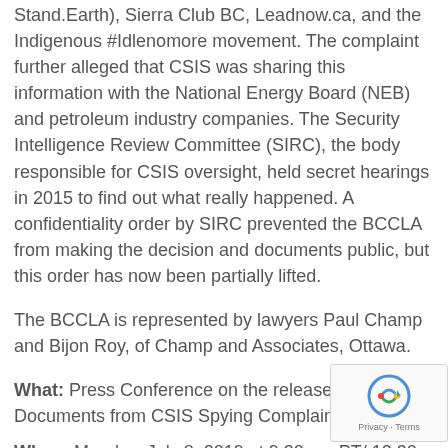Stand.Earth), Sierra Club BC, Leadnow.ca, and the Indigenous #Idlenomore movement. The complaint further alleged that CSIS was sharing this information with the National Energy Board (NEB) and petroleum industry companies. The Security Intelligence Review Committee (SIRC), the body responsible for CSIS oversight, held secret hearings in 2015 to find out what really happened. A confidentiality order by SIRC prevented the BCCLA from making the decision and documents public, but this order has now been partially lifted.
The BCCLA is represented by lawyers Paul Champ and Bijon Roy, of Champ and Associates, Ottawa.
What: Press Conference on the release of Secret Documents from CSIS Spying Complaint.
When: Monday, July 8, 2019 at 9:30 am PT/ 12:30 ET